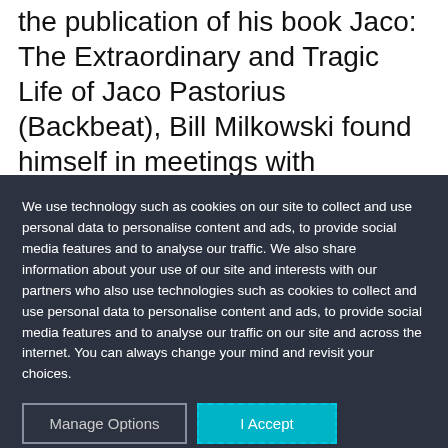the publication of his book Jaco: The Extraordinary and Tragic Life of Jaco Pastorius (Backbeat), Bill Milkowski found himself in meetings with executives from a number of production companies, one of which optioned a script. "I knew Jaco was a vibrant, funny, hilarious, outrageous character," Milkowski wrote in a recent e-mail, “and so I didn’t want this
We use technology such as cookies on our site to collect and use personal data to personalise content and ads, to provide social media features and to analyse our traffic. We also share information about your use of our site and interests with our partners who also use technologies such as cookies to collect and use personal data to personalise content and ads, to provide social media features and to analyse our traffic on our site and across the internet. You can always change your mind and revisit your choices.